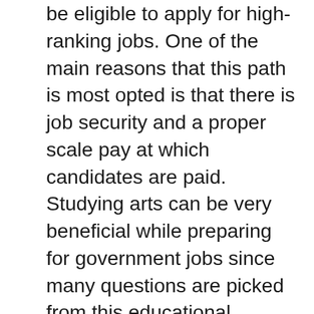be eligible to apply for high-ranking jobs. One of the main reasons that this path is most opted is that there is job security and a proper scale pay at which candidates are paid. Studying arts can be very beneficial while preparing for government jobs since many questions are picked from this educational stream.
The candidate must have a dedicated approach in order to get recruited for government jobs. Hard work and communication building are some other things that prove crucial during preparation. The selection of the candidates really depends upon their performances in the recruitment procedures. The scale and salary pay also depend upon the post for which a